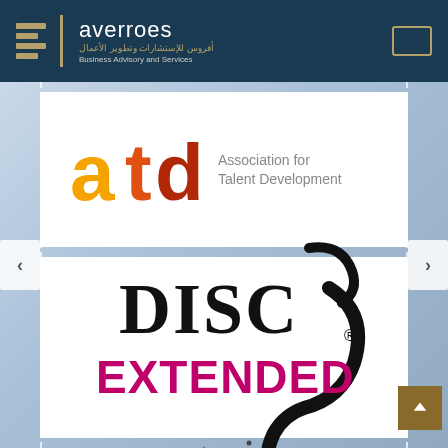[Figure (logo): Averroes Business Advisory and Services logo on dark navy header, with geometric bar icon in gold, company name in white, Arabic text in gold, tagline in grey. A small outlined rectangle appears top right.]
[Figure (logo): ATD - Association for Talent Development logo on white card. Orange 'a', orange-red 't', dark red 'd' in large bold letters on the left. 'Association for Talent Development' text in grey on the right.]
[Figure (logo): Extended DISC logo on white card. Black stylized DISC letterforms with a curved tail, pink/magenta bold EXTENDED text beneath, registered trademark symbol.]